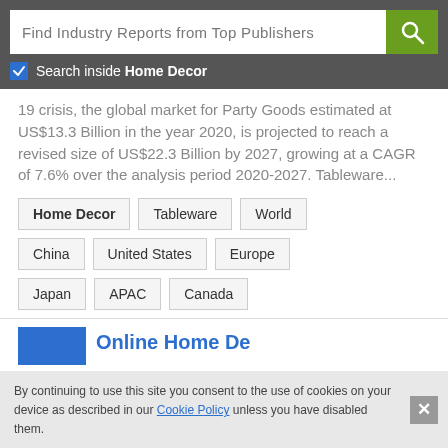Find Industry Reports from Top Publishers
Search inside Home Decor
19 crisis, the global market for Party Goods estimated at US$13.3 Billion in the year 2020, is projected to reach a revised size of US$22.3 Billion by 2027, growing at a CAGR of 7.6% over the analysis period 2020-2027. Tableware...
Home Decor
Tableware
World
China
United States
Europe
Japan
APAC
Canada
By continuing to use this site you consent to the use of cookies on your device as described in our Cookie Policy unless you have disabled them.